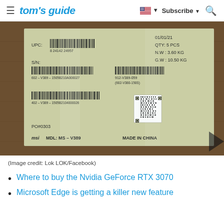tom's guide | Subscribe
[Figure (photo): Close-up photo of an MSI product box label under plastic wrap. Label shows: UPC barcode, S/N barcode, G.W: 10.50 KG, QTY: 5 PCS, model number 912-V389-059 (602-V380-150S), barcode 602-V389-1505B2104000026, PO#0303, MSI MDL: MS-V389, MADE IN CHINA. Brown cardboard box background.]
(Image credit: Lok LOK/Facebook)
Where to buy the Nvidia GeForce RTX 3070
Microsoft Edge is getting a killer new feature